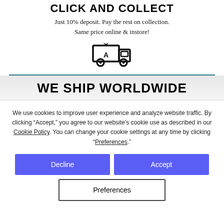CLICK AND COLLECT
Just 10% deposit. Pay the rest on collection. Same price online & instore!
[Figure (illustration): Delivery truck icon with a letter A symbol on the side]
WE SHIP WORLDWIDE
We use cookies to improve user experience and analyze website traffic. By clicking “Accept,” you agree to our website’s cookie use as described in our Cookie Policy. You can change your cookie settings at any time by clicking “Preferences.”
Decline | Accept | Preferences